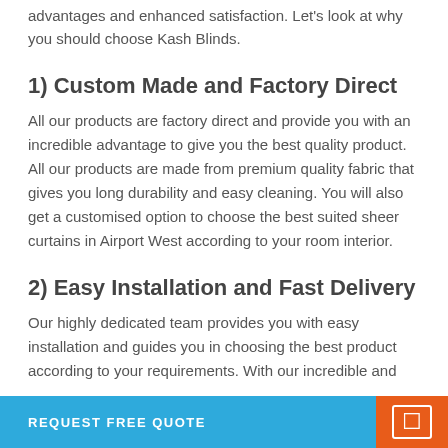advantages and enhanced satisfaction. Let's look at why you should choose Kash Blinds.
1) Custom Made and Factory Direct
All our products are factory direct and provide you with an incredible advantage to give you the best quality product. All our products are made from premium quality fabric that gives you long durability and easy cleaning. You will also get a customised option to choose the best suited sheer curtains in Airport West according to your room interior.
2) Easy Installation and Fast Delivery
Our highly dedicated team provides you with easy installation and guides you in choosing the best product according to your requirements. With our incredible and
REQUEST FREE QUOTE